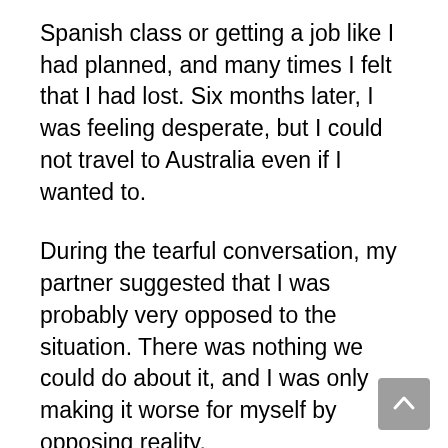Spanish class or getting a job like I had planned, and many times I felt that I had lost. Six months later, I was feeling desperate, but I could not travel to Australia even if I wanted to.
During the tearful conversation, my partner suggested that I was probably very opposed to the situation. There was nothing we could do about it, and I was only making it worse for myself by opposing reality.
The next day my sister suggested me to read Current strength, By Eckhardt Toll. It changed my perspective completely. I was reminded that everything was really alright in the present moment in front of me. It was when I thought of the future that I reached a dark place.